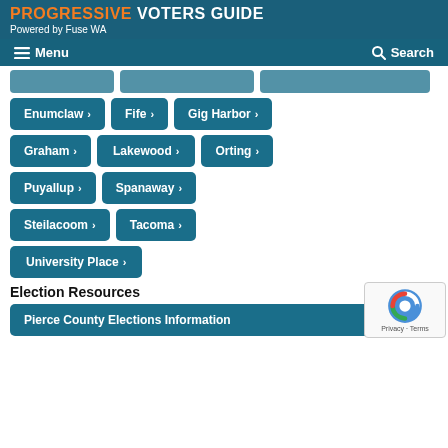PROGRESSIVE VOTERS GUIDE — Powered by Fuse WA
Menu | Search
Enumclaw >
Fife >
Gig Harbor >
Graham >
Lakewood >
Orting >
Puyallup >
Spanaway >
Steilacoom >
Tacoma >
University Place >
Election Resources
Pierce County Elections Information ↗